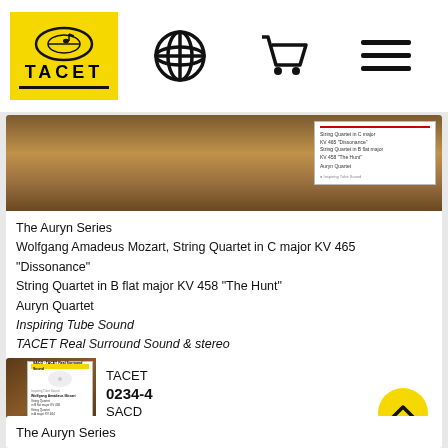TACET — navigation header with logo, globe icon, cart icon, menu icon
[Figure (screenshot): Album cover thumbnail showing violin scroll on dark background with overlay listing Mozart String Quartet details]
The Auryn Series
Wolfgang Amadeus Mozart, String Quartet in C major KV 465 "Dissonance"
String Quartet in B flat major KV 458 "The Hunt"
Auryn Quartet
Inspiring Tube Sound
TACET Real Surround Sound & stereo
[Figure (logo): KLANG TIPP AUDIO badge (circular), ICMA Nomination 2021 badge, Supersonic Pizzicato badge]
[Figure (screenshot): Second album cover thumbnail — SACD TACET Real Surround Sound label]
TACET
0234-4
SACD
The Auryn Series